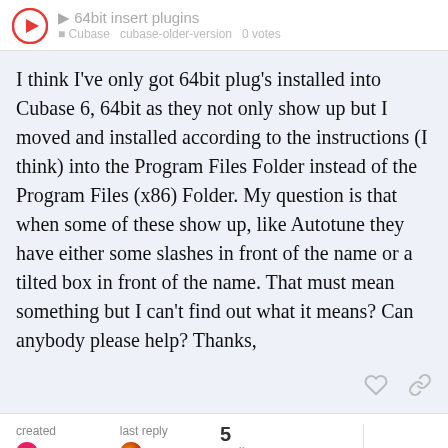64bit insert plugins — Cubase  cubase-older-version  0 votes
I think I've only got 64bit plug's installed into Cubase 6, 64bit as they not only show up but I moved and installed according to the instructions (I think) into the Program Files Folder instead of the Program Files (x86) Folder. My question is that when some of these show up, like Autotune they have either some slashes in front of the name or a tilted box in front of the name. That must mean something but I can't find out what it means? Can anybody please help? Thanks,
created Jun '11   last reply Apr 30   5 replies
1 / 6
system